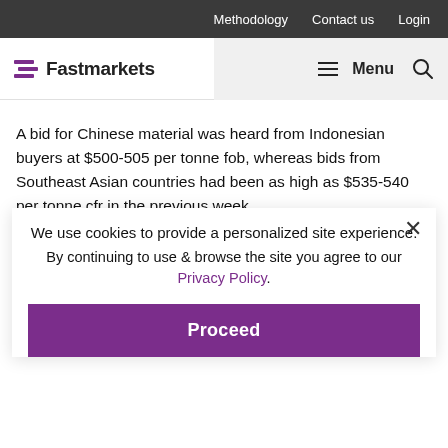Methodology  Contact us  Login
Fastmarkets  Menu
A bid for Chinese material was heard from Indonesian buyers at $500-505 per tonne fob, whereas bids from Southeast Asian countries had been as high as $535-540 per tonne cfr in the previous week.
In India, a mill launched a tender for billet, but withdrew the offer as the bids received were far lower than expected.
Bids were received at around $470-475 per tonne fob, while producers said they would not accept less
We use cookies to provide a personalized site experience.
By continuing to use & browse the site you agree to our Privacy Policy.
Proceed
CIS, Middle East and North Africa